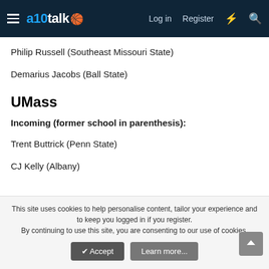a10talk — Log in  Register
Philip Russell (Southeast Missouri State)
Demarius Jacobs (Ball State)
UMass
Incoming (former school in parenthesis):
Trent Buttrick (Penn State)
CJ Kelly (Albany)
This site uses cookies to help personalise content, tailor your experience and to keep you logged in if you register.
By continuing to use this site, you are consenting to our use of cookies.